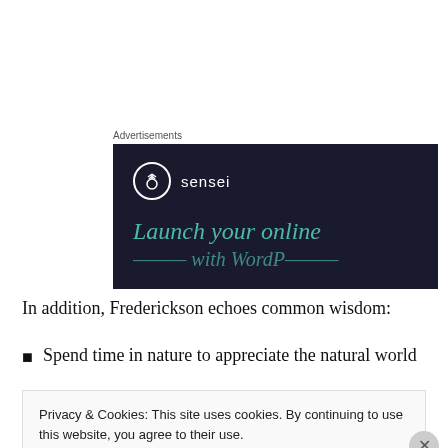[Figure (screenshot): Advertisement banner for Sensei plugin showing dark navy background with Sensei logo (tree icon in circle) and teal italic text 'Launch your online' with partial second line cut off]
In addition, Frederickson echoes common wisdom:
Spend time in nature to appreciate the natural world
Privacy & Cookies: This site uses cookies. By continuing to use this website, you agree to their use.
To find out more, including how to control cookies, see here: Cookie Policy
Close and accept